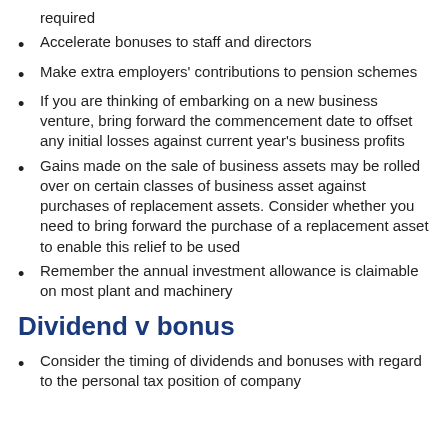required
Accelerate bonuses to staff and directors
Make extra employers' contributions to pension schemes
If you are thinking of embarking on a new business venture, bring forward the commencement date to offset any initial losses against current year's business profits
Gains made on the sale of business assets may be rolled over on certain classes of business asset against purchases of replacement assets. Consider whether you need to bring forward the purchase of a replacement asset to enable this relief to be used
Remember the annual investment allowance is claimable on most plant and machinery
Dividend v bonus
Consider the timing of dividends and bonuses with regard to the personal tax position of company